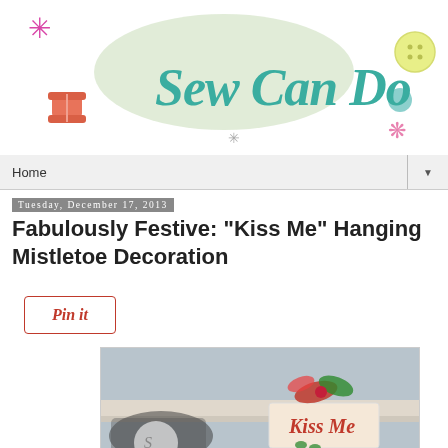[Figure (logo): Sew Can Do blog logo with teal cursive text, decorative elements including pink asterisk, thread spool, yellow button, teal circle, pink butterfly, gray asterisk on white/light green cloud background]
Home
Tuesday, December 17, 2013
Fabulously Festive: "Kiss Me" Hanging Mistletoe Decoration
[Figure (other): Pin it button - red outlined rectangle with italic 'Pin it' text in red]
[Figure (photo): Photo of a Kiss Me mistletoe decoration hanging above a door frame, with a white sign reading 'Kiss Me' in red script, decorated with red and green ribbon bow, and mistletoe below]